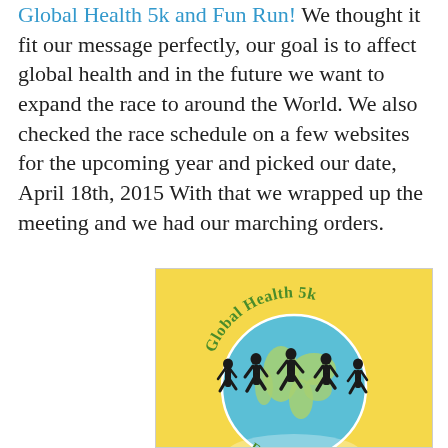Global Health 5k and Fun Run!  We thought it fit our message perfectly, our goal is to affect global health and in the future we want to expand the race to around the World.  We also checked the race schedule on a few websites for the upcoming year and picked our date, April 18th, 2015  With that we wrapped up the meeting and we had our marching orders.
[Figure (illustration): Logo for the Global Health 5k and Fun Run event showing silhouettes of runners in front of a globe, with text 'Global Health 5k' arched above and 'Fun Run' at the bottom, on a yellow background.]